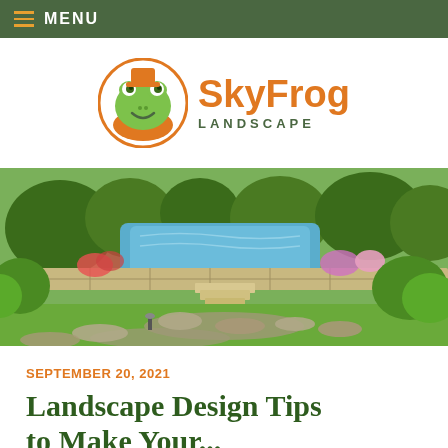MENU
[Figure (logo): SkyFrog Landscape logo with green frog mascot in orange circle and orange/green text]
[Figure (photo): Outdoor landscaped backyard with stone retaining walls, swimming pool, lush greenery, flowering plants, and a curved flagstone pathway with a small landscape light]
SEPTEMBER 20, 2021
Landscape Design Tips to Make Your...